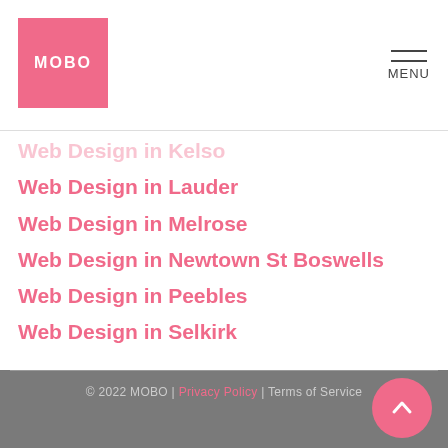MOBO | MENU
Web Design in Kelso (partial, faded)
Web Design in Lauder
Web Design in Melrose
Web Design in Newtown St Boswells
Web Design in Peebles
Web Design in Selkirk
© 2022 MOBO | Privacy Policy | Terms of Service